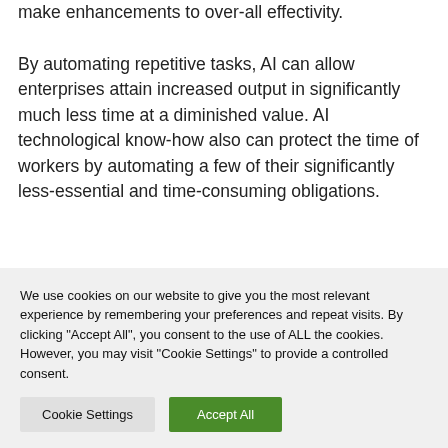make enhancements to over-all effectivity.
By automating repetitive tasks, AI can allow enterprises attain increased output in significantly much less time at a diminished value. AI technological know-how also can protect the time of workers by automating a few of their significantly less-essential and time-consuming obligations.
Now that we have now seen how AI is remodeling
We use cookies on our website to give you the most relevant experience by remembering your preferences and repeat visits. By clicking "Accept All", you consent to the use of ALL the cookies. However, you may visit "Cookie Settings" to provide a controlled consent.
Cookie Settings
Accept All